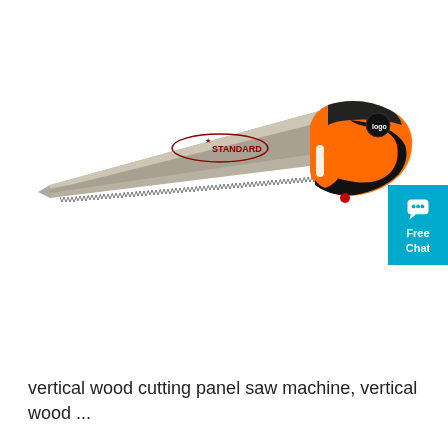[Figure (photo): A hand saw with a silver/grey metal blade featuring fine teeth along the bottom edge, an orange and black ergonomic handle. The blade has a label reading '*STANDARD' in an oval. The tool is photographed on a white background.]
[Figure (logo): A cyan/teal blue badge widget in the top right corner showing a chat bubble icon and the text 'Free Chat']
vertical wood cutting panel saw machine, vertical wood ...